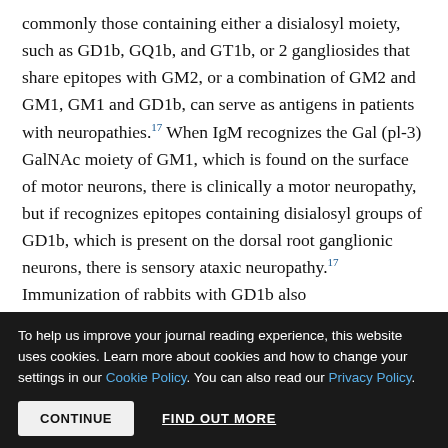commonly those containing either a disialosyl moiety, such as GD1b, GQ1b, and GT1b, or 2 gangliosides that share epitopes with GM2, or a combination of GM2 and GM1, GM1 and GD1b, can serve as antigens in patients with neuropathies.17 When IgM recognizes the Gal (pl-3) GalNAc moiety of GM1, which is found on the surface of motor neurons, there is clinically a motor neuropathy, but if recognizes epitopes containing disialosyl groups of GD1b, which is present on the dorsal root ganglionic neurons, there is sensory ataxic neuropathy.17 Immunization of rabbits with GD1b also
To help us improve your journal reading experience, this website uses cookies. Learn more about cookies and how to change your settings in our Cookie Policy. You can also read our Privacy Policy.